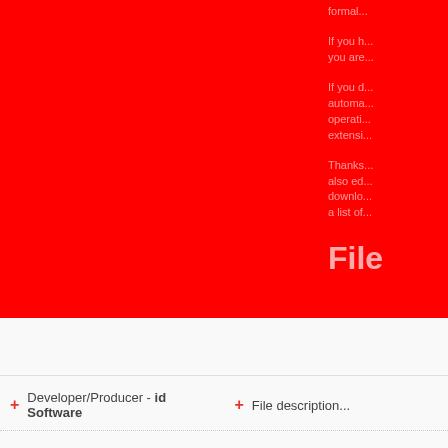formal...
If you h... you are...
If you d... automa... operati... extensi...
Thanks... also ed... downlo... a list of...
File
+ Developer/Producer - id Software
+ File description...